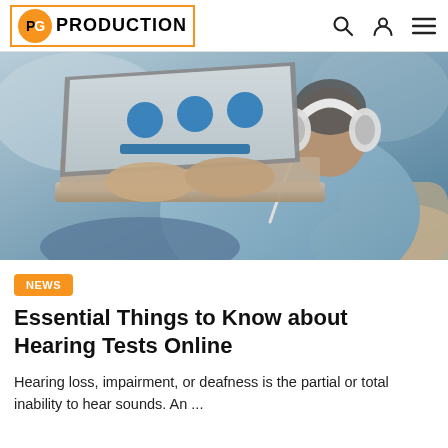PG PRODUCTION
[Figure (photo): A man wearing white headphones seen from behind, typing on a laptop. The laptop screen shows blue circles and a blue bar. The man is wearing a light blue shirt.]
NEWS
Essential Things to Know about Hearing Tests Online
Hearing loss, impairment, or deafness is the partial or total inability to hear sounds. An ...